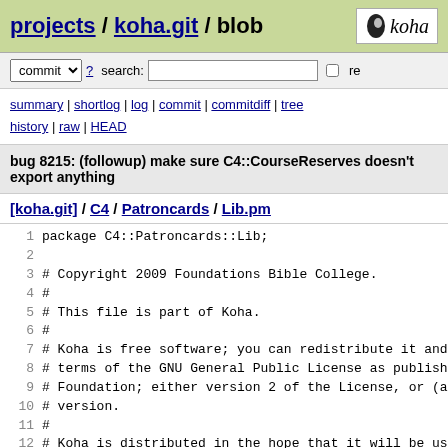projects / koha.git / blob
commit ? search: re
summary | shortlog | log | commit | commitdiff | tree history | raw | HEAD
bug 8215: (followup) make sure C4::CourseReserves doesn't export anything
[koha.git] / C4 / Patroncards / Lib.pm
1 package C4::Patroncards::Lib;
2 
3 # Copyright 2009 Foundations Bible College.
4 #
5 # This file is part of Koha.
6 #
7 # Koha is free software; you can redistribute it and/or
8 # terms of the GNU General Public License as published
9 # Foundation; either version 2 of the License, or (at y
10 # version.
11 #
12 # Koha is distributed in the hope that it will be usefu
13 # WARRANTY; without even the implied warranty of MERCHA
14 # A PARTICULAR PURPOSE.  See the GNU General Public Lic
15 #
16 # You should have received a copy of the GNU General Pu
17 # with Koha; if not, write to the Free Software Foundat